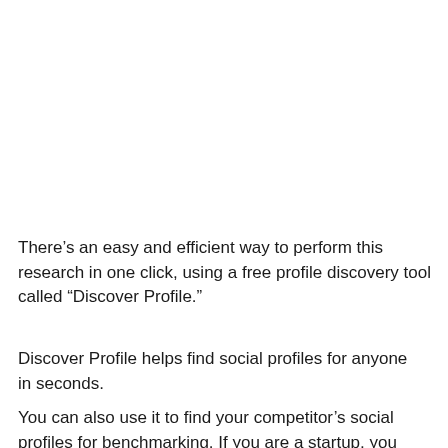There’s an easy and efficient way to perform this research in one click, using a free profile discovery tool called “Discover Profile.”
Discover Profile helps find social profiles for anyone in seconds.
You can also use it to find your competitor’s social profiles for benchmarking. If you are a startup, you probably still don’t